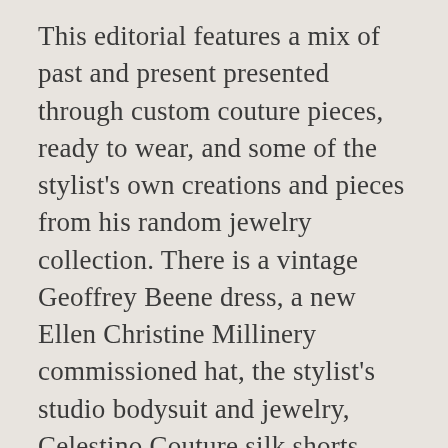This editorial features a mix of past and present presented through custom couture pieces, ready to wear, and some of the stylist's own creations and pieces from his random jewelry collection. There is a vintage Geoffrey Beene dress, a new Ellen Christine Millinery commissioned hat, the stylist's studio bodysuit and jewelry, Celestino Couture silk shorts, Custo Barcelona tights, Irregular Choice shoes, a Custo Barcelona dress, Walter Steiger shoes, the stylist's necklace, a Carlo Carrizosa top with the stylist's beaded collar underneath, Melissa by Alexandre Herchcovitch shoes, a